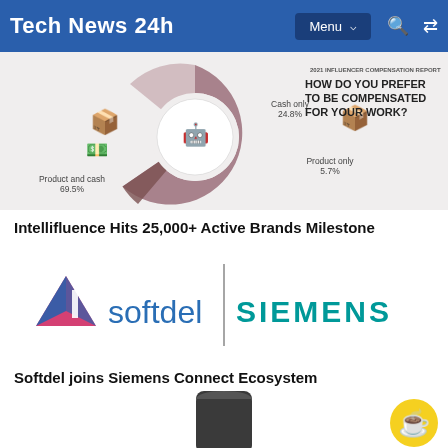Tech News 24h
[Figure (donut-chart): 2021 INFLUENCER COMPENSATION REPORT — HOW DO YOU PREFER TO BE COMPENSATED FOR YOUR WORK?]
Intellifluence Hits 25,000+ Active Brands Milestone
[Figure (logo): Softdel logo (triangle icon + 'softdel' text) and Siemens logo side by side separated by a vertical line]
Softdel joins Siemens Connect Ecosystem
[Figure (photo): Partial view of a dark cylindrical product at the bottom of the page]
[Figure (other): Yellow circular coffee cup icon button at bottom right]